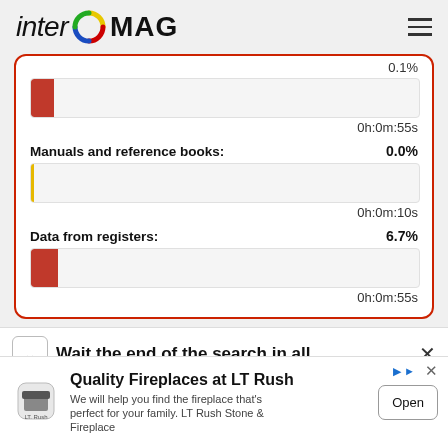inter MAG
[Figure (infographic): Progress bar showing 0.1% with red fill, time 0h:0m:55s]
Manuals and reference books: 0.0%
[Figure (infographic): Progress bar showing 0.0% with yellow marker, time 0h:0m:10s]
Data from registers: 6.7%
[Figure (infographic): Progress bar showing 6.7% with red fill, time 0h:0m:55s]
Wait the end of the search in all
Quality Fireplaces at LT Rush We will help you find the fireplace that's perfect for your family. LT Rush Stone & Fireplace